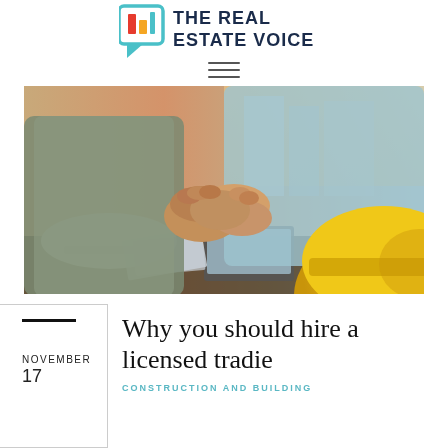THE REAL ESTATE VOICE
[Figure (photo): Two people shaking hands at a construction site, with hard hats and blueprints on a table, and a yellow hard hat visible in the foreground right]
NOVEMBER 17
Why you should hire a licensed tradie
CONSTRUCTION AND BUILDING